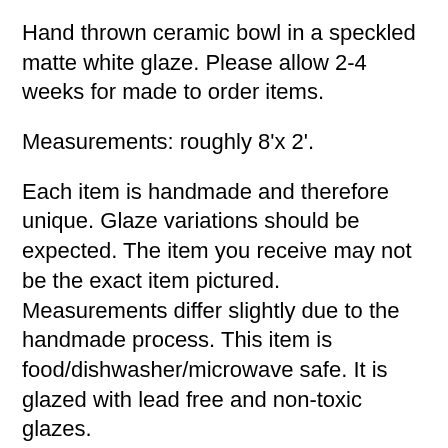Hand thrown ceramic bowl in a speckled matte white glaze. Please allow 2-4 weeks for made to order items.
Measurements: roughly 8"x 2".
Each item is handmade and therefore unique. Glaze variations should be expected. The item you receive may not be the exact item pictured. Measurements differ slightly due to the handmade process. This item is food/dishwasher/microwave safe. It is glazed with lead free and non-toxic glazes.
My Process: Clay is first weighed, wedged, and thrown on the wheel. After drying for several days, it enters the 'leather hard stage' and can be trimmed to its final form. It is then set aside to dry for several more days until it enters the 'bone dry' stage. At this point, pottery can be bisque fired while for the kiln fires. The kiln fires...